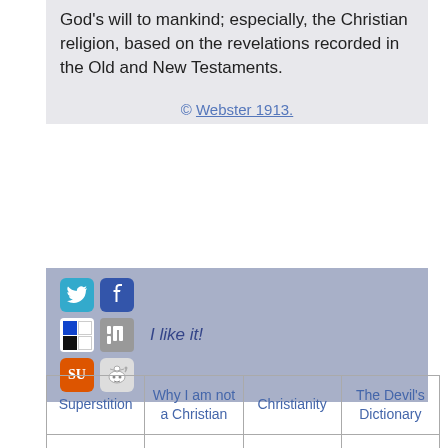God's will to mankind; especially, the Christian religion, based on the revelations recorded in the Old and New Testaments.
© Webster 1913.
[Figure (infographic): Social sharing bar with Twitter, Facebook, Delicious, Digg, StumbleUpon, Reddit icons and 'I like it!' text]
| Superstition | Why I am not a Christian | Christianity | The Devil's Dictionary |
| --- | --- | --- | --- |
| meme virus | How can a thinking, rational adult be a monotheist? | Everything is sacred | Unitarianism |